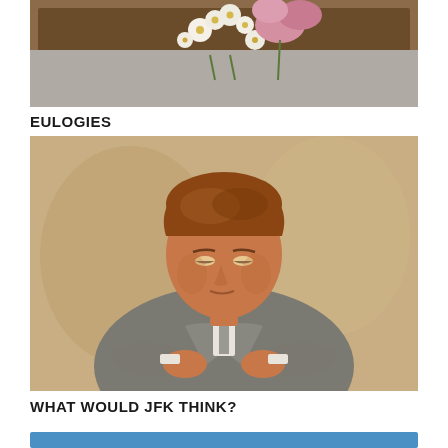[Figure (photo): A framed picture on a wall with white daisy flowers and a pink flower arrangement in front of it, with a gray fabric background]
EULOGIES
[Figure (illustration): A painted portrait of President John F. Kennedy, showing him with auburn hair, wearing a gray suit, arms crossed, head bowed downward in a contemplative pose, against a beige background]
WHAT WOULD JFK THINK?